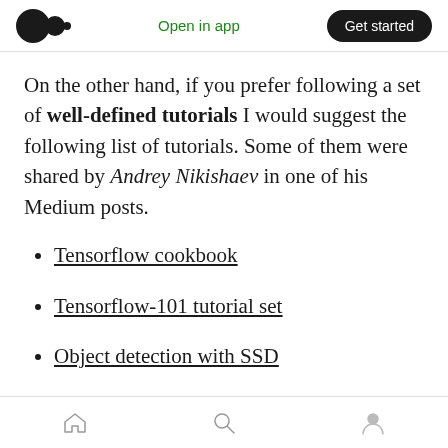Medium logo | Open in app | Get started
On the other hand, if you prefer following a set of well-defined tutorials I would suggest the following list of tutorials. Some of them were shared by Andrey Nikishaev in one of his Medium posts.
Tensorflow cookbook
Tensorflow-101 tutorial set
Object detection with SSD
Fast Mask RCNN for object detection and
Home | Search | Profile